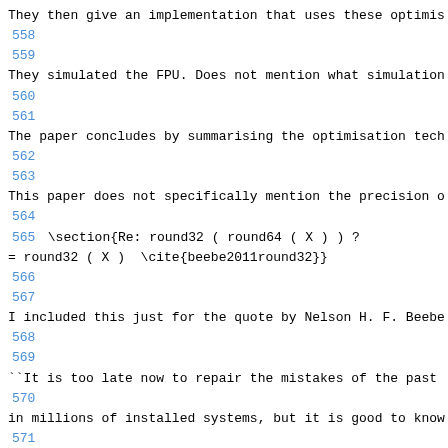They then give an implementation that uses these optimis
558
559
They simulated the FPU. Does not mention what simulation
560
561
The paper concludes by summarising the optimisation tech
562
563
This paper does not specifically mention the precision o
564
565 \section{Re: round32 ( round64 ( X ) ) ?
= round32 ( X )  \cite{beebe2011round32}}
566
567
I included this just for the quote by Nelson H. F. Beebe
568
569
``It is too late now to repair the mistakes of the past
570
in millions of installed systems, but it is good to know
571
research before designing hardware can be helpful.''
572
573